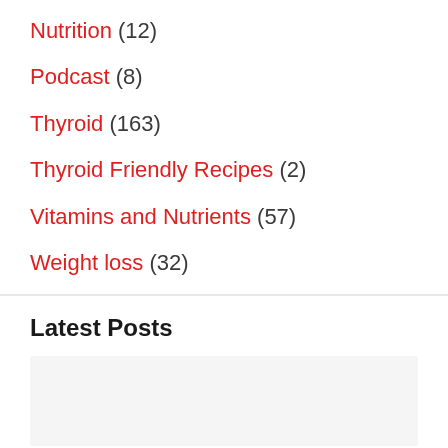Nutrition (12)
Podcast (8)
Thyroid (163)
Thyroid Friendly Recipes (2)
Vitamins and Nutrients (57)
Weight loss (32)
Latest Posts
[Figure (photo): Placeholder image area for latest post thumbnail]